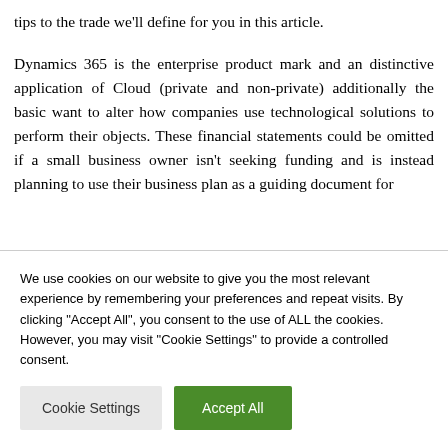tips to the trade we'll define for you in this article.
Dynamics 365 is the enterprise product mark and an distinctive application of Cloud (private and non-private) additionally the basic want to alter how companies use technological solutions to perform their objects. These financial statements could be omitted if a small business owner isn't seeking funding and is instead planning to use their business plan as a guiding document for
We use cookies on our website to give you the most relevant experience by remembering your preferences and repeat visits. By clicking "Accept All", you consent to the use of ALL the cookies. However, you may visit "Cookie Settings" to provide a controlled consent.